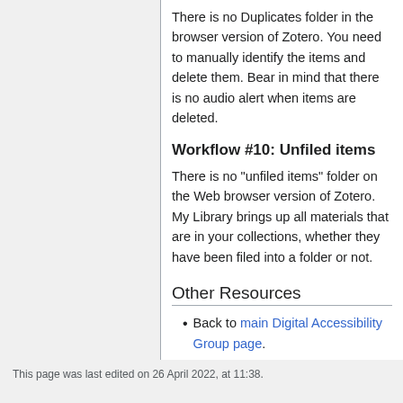There is no Duplicates folder in the browser version of Zotero. You need to manually identify the items and delete them. Bear in mind that there is no audio alert when items are deleted.
Workflow #10: Unfiled items
There is no "unfiled items" folder on the Web browser version of Zotero. My Library brings up all materials that are in your collections, whether they have been filed into a folder or not.
Other Resources
Back to main Digital Accessibility Group page.
This page was last edited on 26 April 2022, at 11:38.